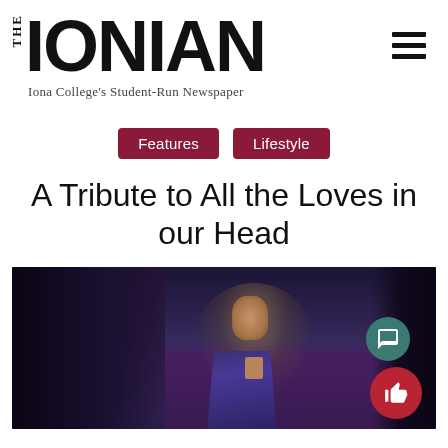THE IONIAN — Iona College's Student-Run Newspaper
Features
Lifestyle
A Tribute to All the Loves in our Head
[Figure (photo): A young male performer on stage in dramatic lighting, wearing a dark blue/purple shirt, with a spotlight illuminating him against a dark curtain background]